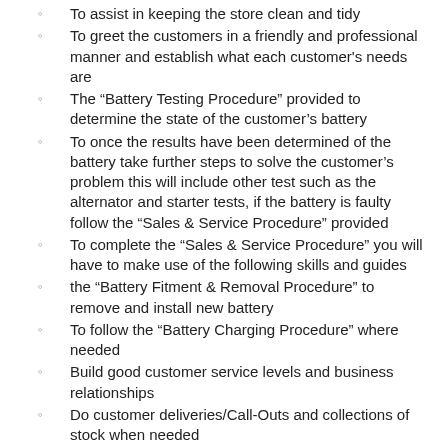To assist in keeping the store clean and tidy
To greet the customers in a friendly and professional manner and establish what each customer's needs are
The “Battery Testing Procedure” provided to determine the state of the customer’s battery
To once the results have been determined of the battery take further steps to solve the customer’s problem this will include other test such as the alternator and starter tests, if the battery is faulty follow the “Sales & Service Procedure” provided
To complete the “Sales & Service Procedure” you will have to make use of the following skills and guides
the “Battery Fitment & Removal Procedure” to remove and install new battery
To follow the “Battery Charging Procedure” where needed
Build good customer service levels and business relationships
Do customer deliveries/Call-Outs and collections of stock when needed
Assisting with stock unloading and packing the store room
Assisting with retuning scrap loading